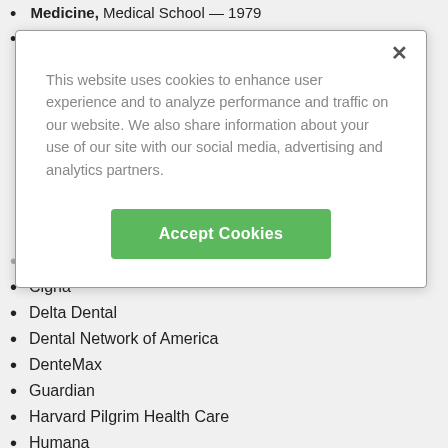Medicine, Medical School — 1979
Columbia College, Undergraduate School —
This website uses cookies to enhance user experience and to analyze performance and traffic on our website. We also share information about your use of our site with our social media, advertising and analytics partners.
CareFirst Blue Cross Blue Shield
Cigna
Delta Dental
Dental Network of America
DenteMax
Guardian
Harvard Pilgrim Health Care
Humana